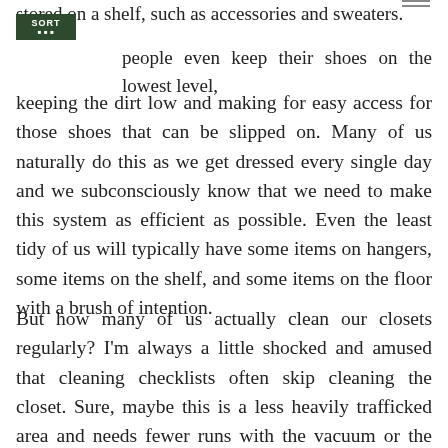[Figure (logo): SORT logo - dark green square with white text 'SORT' and subtitle text below]
stored on a shelf, such as accessories and sweaters. people even keep their shoes on the lowest level, keeping the dirt low and making for easy access for those shoes that can be slipped on. Many of us naturally do this as we get dressed every single day and we subconsciously know that we need to make this system as efficient as possible. Even the least tidy of us will typically have some items on hangers, some items on the shelf, and some items on the floor with a brush of intention.
But how many of us actually clean our closets regularly? I'm always a little shocked and amused that cleaning checklists often skip cleaning the closet. Sure, maybe this is a less heavily trafficked area and needs fewer runs with the vacuum or the duster. But still, even the…